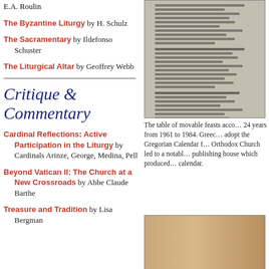E.A. Roulin
The Byzantine Liturgy by H. Schulz
The Sacramentary by Ildefonso Schuster
The Liturgical Altar by Geoffrey Webb
Critique & Commentary
Cardinal Reflections: Active Participation in the Liturgy by Cardinals Arinze, George, Medina, Pell
Beyond Vatican II: The Church at a New Crossroads by Abbe Claude Barthe
Treasure and Tradition by Lisa Bergman
[Figure (photo): Photo of a page with columns of Greek or liturgical text listing movable feasts]
The table of movable feasts acco… 24 years from 1961 to 1984. Greec… adopt the Gregorian Calendar f… Orthodox Church led to a notabl… publishing house which produced… calendar.
[Figure (photo): Photo of a wooden or stone carved religious object or architectural detail]